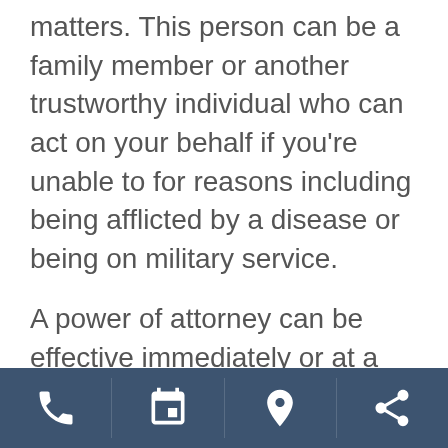matters. This person can be a family member or another trustworthy individual who can act on your behalf if you're unable to for reasons including being afflicted by a disease or being on military service.
A power of attorney can be effective immediately or at a future point when you're unable to manage your affairs. Power of attorney also gives the assignee authority to make decisions in regard to your health, property, and other legal affairs. If you're suddenly incapacitated without a power of attorney, it could cost a loved one
[Figure (other): Mobile app footer navigation bar with four icons: phone, calendar, location pin, and share]